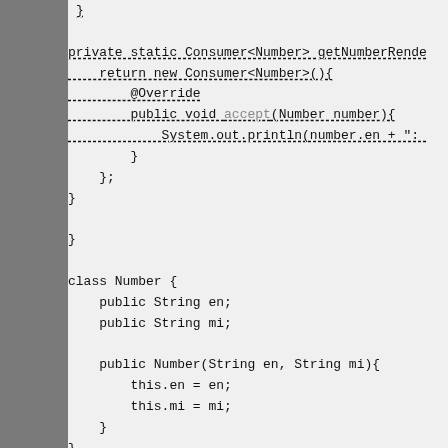[Figure (screenshot): Java source code screenshot showing partial class definitions with Consumer<Number>, Number class, and IndexedNumber class]